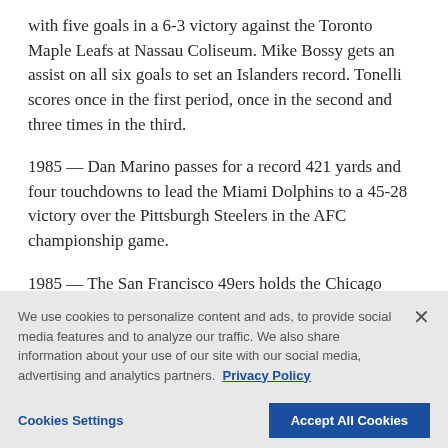with five goals in a 6-3 victory against the Toronto Maple Leafs at Nassau Coliseum. Mike Bossy gets an assist on all six goals to set an Islanders record. Tonelli scores once in the first period, once in the second and three times in the third.
1985 — Dan Marino passes for a record 421 yards and four touchdowns to lead the Miami Dolphins to a 45-28 victory over the Pittsburgh Steelers in the AFC championship game.
1985 — The San Francisco 49ers holds the Chicago Bears to 186 yards and sacks quarterback Steve Fuller
We use cookies to personalize content and ads, to provide social media features and to analyze our traffic. We also share information about your use of our site with our social media, advertising and analytics partners. Privacy Policy